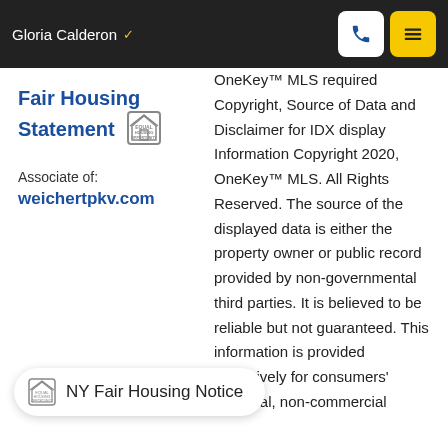Gloria Calderon
Fair Housing Statement
Associate of:
weichertpkv.com
OneKey™ MLS required Copyright, Source of Data and Disclaimer for IDX display Information Copyright 2020, OneKey™ MLS. All Rights Reserved. The source of the displayed data is either the property owner or public record provided by non-governmental third parties. It is believed to be reliable but not guaranteed. This information is provided exclusively for consumers' personal, non-commercial
NY Fair Housing Notice